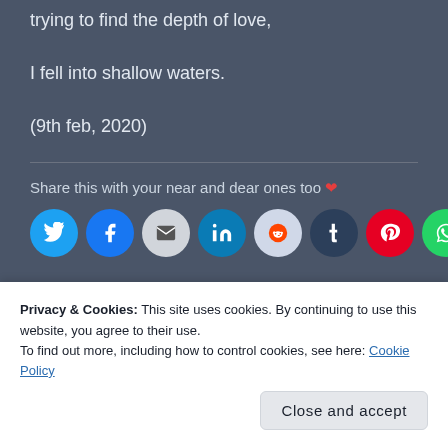trying to find the depth of love,
I fell into shallow waters.
(9th feb, 2020)
Share this with your near and dear ones too ❤
[Figure (other): Social sharing buttons: Twitter, Facebook, Email, LinkedIn, Reddit, Tumblr, Pinterest, WhatsApp, and More]
Privacy & Cookies: This site uses cookies. By continuing to use this website, you agree to their use. To find out more, including how to control cookies, see here: Cookie Policy
Close and accept